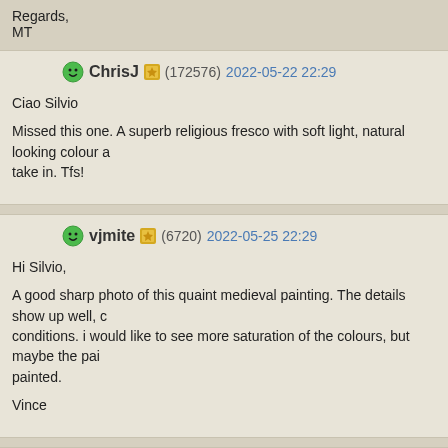Regards,
MT
ChrisJ (172576) 2022-05-22 22:29

Ciao Silvio

Missed this one. A superb religious fresco with soft light, natural looking colour a... take in. Tfs!
vjmite (6720) 2022-05-25 22:29

Hi Silvio,

A good sharp photo of this quaint medieval painting. The details show up well, c... conditions. i would like to see more saturation of the colours, but maybe the pai... painted.

Vince
jmdias (116879) 2022-05-28 13:50

silvio